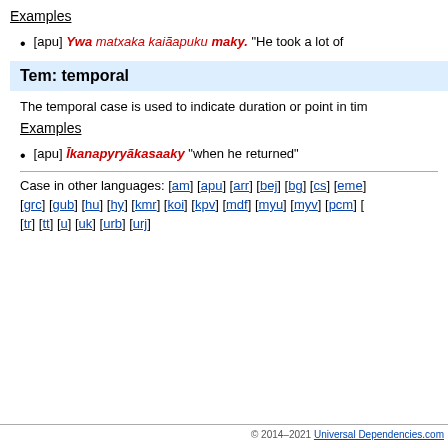Examples
[apu] Ywa matxaka kaiãapuku maky. "He took a lot of
Tem: temporal
The temporal case is used to indicate duration or point in tim
Examples
[apu] Īkanapyryãkasaaky "when he returned"
Case in other languages: [am] [apu] [arr] [bej] [bg] [cs] [eme] [grc] [gub] [hu] [hy] [kmr] [koi] [kpv] [mdf] [myu] [myv] [pcm] [tr] [tt] [u] [uk] [urb] [urj]
© 2014–2021 Universal Dependencies.com